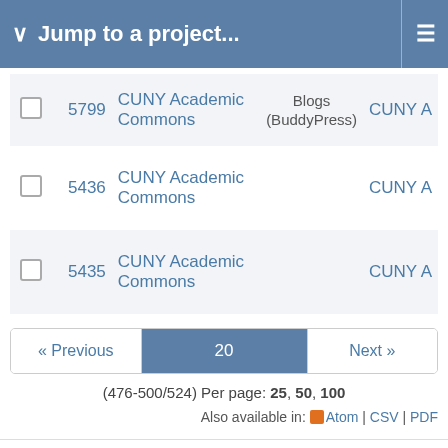Jump to a project...
|  | # | Project | Tracker | Assignee |
| --- | --- | --- | --- | --- |
|  | 5799 | CUNY Academic Commons | Blogs (BuddyPress) | CUNY A |
|  | 5436 | CUNY Academic Commons |  | CUNY A |
|  | 5435 | CUNY Academic Commons |  | CUNY A |
« Previous  20  Next »
(476-500/524) Per page: 25, 50, 100
Also available in: Atom | CSV | PDF
Powered by Redmine © 2006-2022 Jean-Philippe Lang